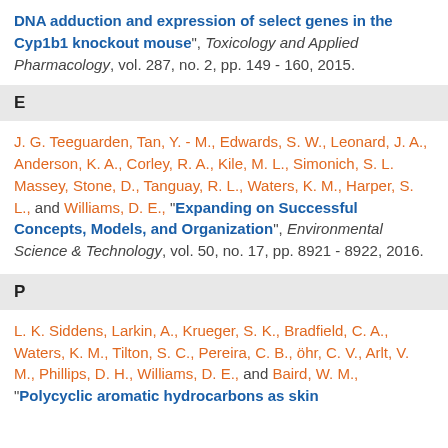DNA adduction and expression of select genes in the Cyp1b1 knockout mouse", Toxicology and Applied Pharmacology, vol. 287, no. 2, pp. 149 - 160, 2015.
E
J. G. Teeguarden, Tan, Y. - M., Edwards, S. W., Leonard, J. A., Anderson, K. A., Corley, R. A., Kile, M. L., Simonich, S. L. Massey, Stone, D., Tanguay, R. L., Waters, K. M., Harper, S. L., and Williams, D. E., “Expanding on Successful Concepts, Models, and Organization”, Environmental Science & Technology, vol. 50, no. 17, pp. 8921 - 8922, 2016.
P
L. K. Siddens, Larkin, A., Krueger, S. K., Bradfield, C. A., Waters, K. M., Tilton, S. C., Pereira, C. B., öhr, C. V., Arlt, V. M., Phillips, D. H., Williams, D. E., and Baird, W. M., “Polycyclic aromatic hydrocarbons as skin